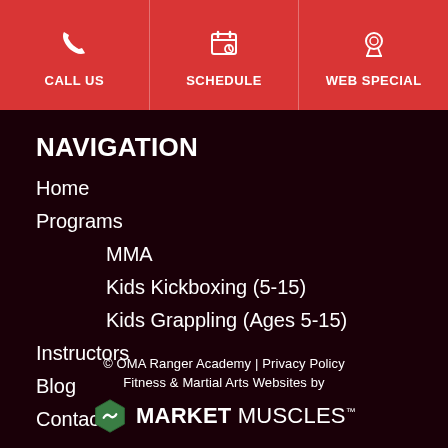CALL US | SCHEDULE | WEB SPECIAL
NAVIGATION
Home
Programs
MMA
Kids Kickboxing (5-15)
Kids Grappling (Ages 5-15)
Instructors
Blog
Contact
© OMA Ranger Academy | Privacy Policy
Fitness & Martial Arts Websites by
MARKET MUSCLES™